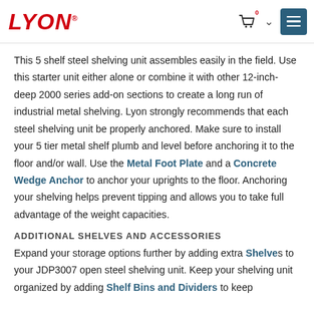LYON
This 5 shelf steel shelving unit assembles easily in the field. Use this starter unit either alone or combine it with other 12-inch-deep 2000 series add-on sections to create a long run of industrial metal shelving. Lyon strongly recommends that each steel shelving unit be properly anchored. Make sure to install your 5 tier metal shelf plumb and level before anchoring it to the floor and/or wall. Use the Metal Foot Plate and a Concrete Wedge Anchor to anchor your uprights to the floor. Anchoring your shelving helps prevent tipping and allows you to take full advantage of the weight capacities.
ADDITIONAL SHELVES AND ACCESSORIES
Expand your storage options further by adding extra Shelves to your JDP3007 open steel shelving unit. Keep your shelving unit organized by adding Shelf Bins and Dividers to keep